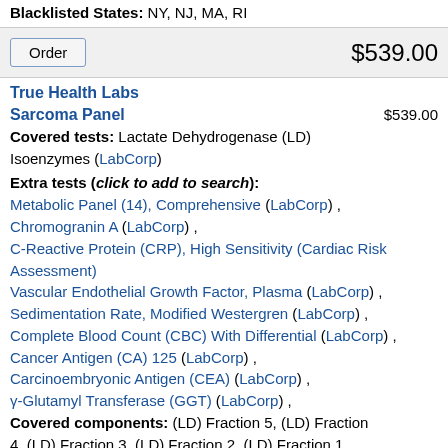Blacklisted States: NY, NJ, MA, RI
Order  $539.00
True Health Labs
Sarcoma Panel  $539.00
Covered tests: Lactate Dehydrogenase (LD) Isoenzymes (LabCorp)
Extra tests (click to add to search): Metabolic Panel (14), Comprehensive (LabCorp) , Chromogranin A (LabCorp) , C-Reactive Protein (CRP), High Sensitivity (Cardiac Risk Assessment) Vascular Endothelial Growth Factor, Plasma (LabCorp) , Sedimentation Rate, Modified Westergren (LabCorp) , Complete Blood Count (CBC) With Differential (LabCorp) , Cancer Antigen (CA) 125 (LabCorp) , Carcinoembryonic Antigen (CEA) (LabCorp) , γ-Glutamyl Transferase (GGT) (LabCorp) ,
Covered components: (LD) Fraction 5, (LD) Fraction 4, (LD) Fraction 3, (LD) Fraction 2, (LD) Fraction 1,